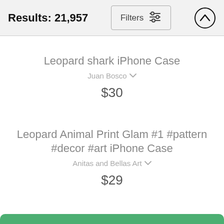Results: 21,957
Leopard shark iPhone Case
Juan Bosco
$30
Leopard Animal Print Glam #1 #pattern #decor #art iPhone Case
Anitas and Bellas Art
$29